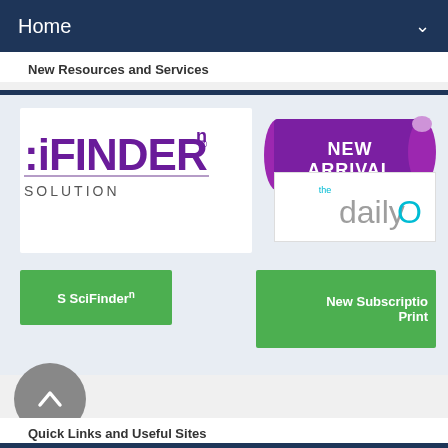Home
New Resources and Services
[Figure (logo): SciFinder-n logo with text 'SOLUTION' below]
[Figure (illustration): Purple scroll/ribbon banner with text 'NEW ARRIVAL']
[Figure (logo): The DailyO logo - grey and cyan text on white background]
S SciFinderⁿ
New Subscription
Print
[Figure (other): Grey circular button with upward chevron/caret arrow]
Quick Links and Useful Sites